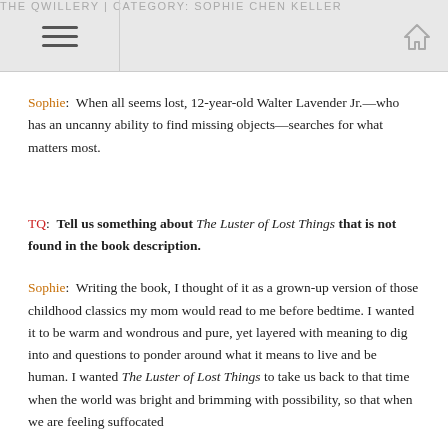THE QWILLERY | CATEGORY: SOPHIE CHEN KELLER
Sophie:  When all seems lost, 12-year-old Walter Lavender Jr.—who has an uncanny ability to find missing objects—searches for what matters most.
TQ:  Tell us something about The Luster of Lost Things that is not found in the book description.
Sophie:  Writing the book, I thought of it as a grown-up version of those childhood classics my mom would read to me before bedtime. I wanted it to be warm and wondrous and pure, yet layered with meaning to dig into and questions to ponder around what it means to live and be human. I wanted The Luster of Lost Things to take us back to that time when the world was bright and brimming with possibility, so that when we are feeling suffocated